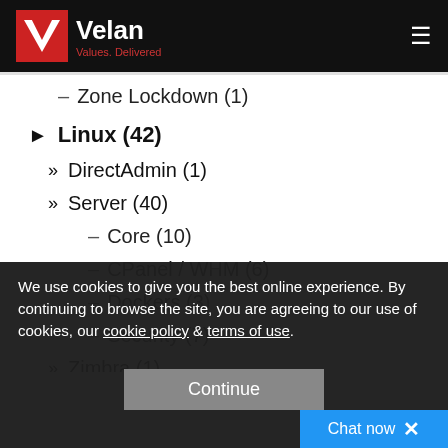Velan — Values. Delivered
– Zone Lockdown (1)
► Linux (42)
» DirectAdmin (1)
» Server (40)
– Core (10)
– CPanel / WHM (6)
– Dockers (3)
– Security (7)
» Zimbra (1)
We use cookies to give you the best online experience. By continuing to browse the site, you are agreeing to our use of cookies, our cookie policy & terms of use.